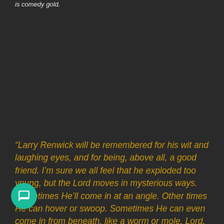is comedy gold.
“Larry Renwick will be remembered for his wit and laughing eyes, and for being, above all, a good friend. I’m sure we all feel that he exploded too young, but the Lord moves in mysterious ways. Sometimes He’ll come in at an angle. Other times He can hover or swoop. Sometimes He can even come in from beneath, like a worm or mole. Lord, it’s His call how he chooses